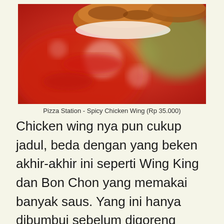[Figure (photo): Close-up photo of a spicy chicken wing with red sauce and green garnish in the background]
Pizza Station - Spicy Chicken Wing (Rp 35.000)
Chicken wing nya pun cukup jadul, beda dengan yang beken akhir-akhir ini seperti Wing King dan Bon Chon yang memakai banyak saus. Yang ini hanya dibumbui sebelum digoreng kering dan diberi saus tomat / sambal untuk pelengkap